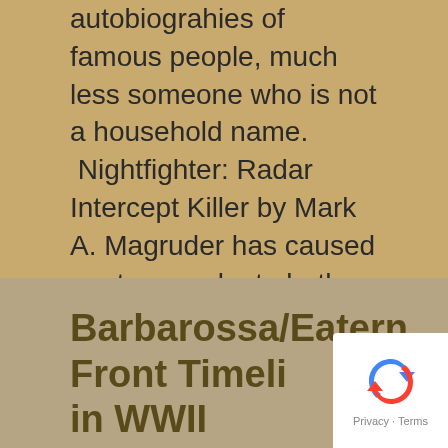autobiograhies of famous people, much less someone who is not a household name. Nightfighter: Radar Intercept Killer by Mark A. Magruder has caused me to reevaluate both opinions. This book is the story of USMC COL Marion Magruder, one of the … More after the Jump…
Book Review, Col. Magruder, Japan, Japanese Navy, Marines, Mark Magruder, Military Principles, military technology, Nightfighter, Okinawa, WWII
Barbarossa/Eatern Front Timeline in WWII